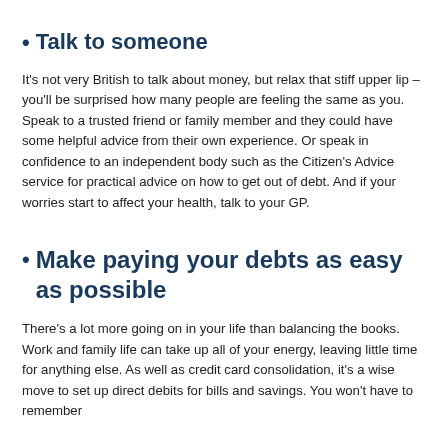Talk to someone
It's not very British to talk about money, but relax that stiff upper lip – you'll be surprised how many people are feeling the same as you. Speak to a trusted friend or family member and they could have some helpful advice from their own experience. Or speak in confidence to an independent body such as the Citizen's Advice service for practical advice on how to get out of debt. And if your worries start to affect your health, talk to your GP.
Make paying your debts as easy as possible
There's a lot more going on in your life than balancing the books. Work and family life can take up all of your energy, leaving little time for anything else. As well as credit card consolidation, it's a wise move to set up direct debits for bills and savings. You won't have to remember